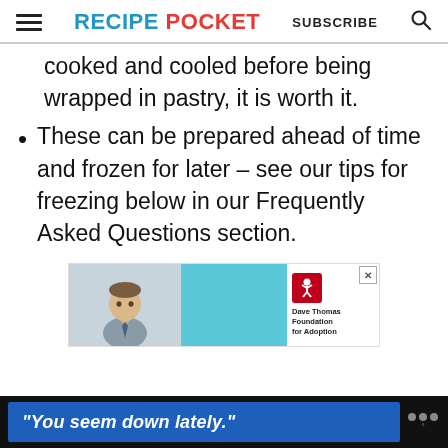RECIPE POCKET   SUBSCRIBE
cooked and cooled before being wrapped in pastry, it is worth it.
These can be prepared ahead of time and frozen for later – see our tips for freezing below in our Frequently Asked Questions section.
[Figure (photo): Advertisement banner featuring a boy, blue background, and Dave Thomas Foundation for Adoption logo]
[Figure (photo): Bottom advertisement bar with blue box containing italic text: "You seem down lately." and WW logo]